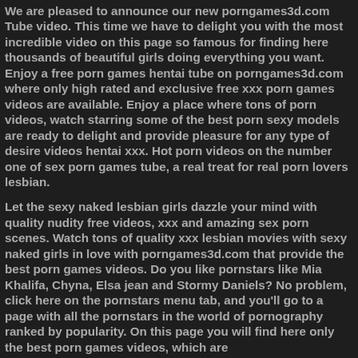We are pleased to announce our new porngames3d.com Tube video. This time we have to delight you with the most incredible video on this page so famous for finding here thousands of beautiful girls doing everything you want. Enjoy a free porn games hentai tube on porngames3d.com where only high rated and exclusive free xxx porn games videos are available. Enjoy a place where tons of porn videos, watch starring some of the best porn sexy models are ready to delight and provide pleasure for any type of desire videos hentai xxx. Hot porn videos on the number one of sex porn games tube, a real treat for real porn lovers lesbian.
Let the sexy naked lesbian girls dazzle your mind with quality nudity free videos, xxx and amazing sex porn scenes. Watch tons of quality xxx lesbian movies with sexy naked girls in love with porngames3d.com that provide the best porn games videos. Do you like pornstars like Mia Khalifa, Chyna, Elsa jean and Stormy Daniels? No problem, click here on the pornstars menu tab, and you'll go to a page with all the pornstars in the world of pornography ranked by popularity. On this page you will find here only the best porn games videos, which are